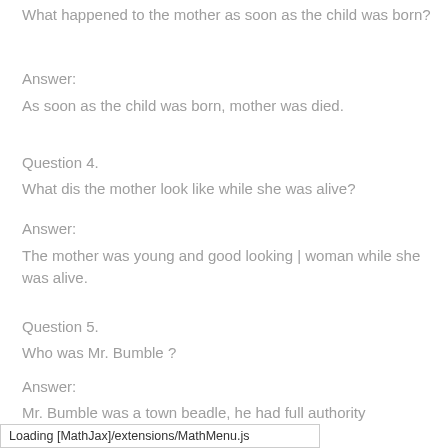What happened to the mother as soon as the child was born?
Answer:
As soon as the child was born, mother was died.
Question 4.
What dis the mother look like while she was alive?
Answer:
The mother was young and good looking | woman while she was alive.
Question 5.
Who was Mr. Bumble ?
Answer:
Mr. Bumble was a town beadle, he had full authority
Loading [MathJax]/extensions/MathMenu.js